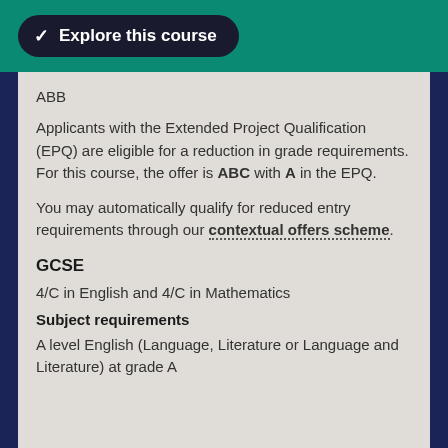Explore this course
ABB
Applicants with the Extended Project Qualification (EPQ) are eligible for a reduction in grade requirements. For this course, the offer is ABC with A in the EPQ.
You may automatically qualify for reduced entry requirements through our contextual offers scheme.
GCSE
4/C in English and 4/C in Mathematics
Subject requirements
A level English (Language, Literature or Language and Literature) at grade A